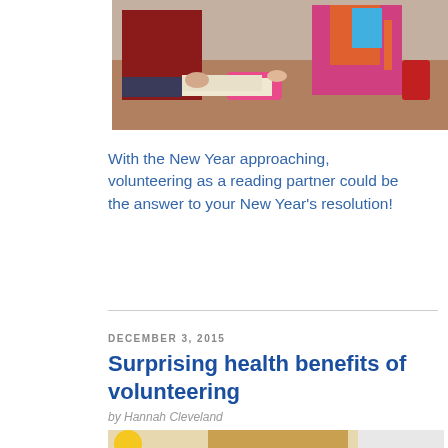[Figure (photo): Partial top photo showing students/people at desks in a classroom setting, cropped at top]
With the New Year approaching, volunteering as a reading partner could be the answer to your New Year's resolution!
DECEMBER 3, 2015
Surprising health benefits of volunteering
by Hannah Cleveland
[Figure (photo): Partial bottom photo showing a woman with blonde hair in a classroom, cropped at bottom of page]